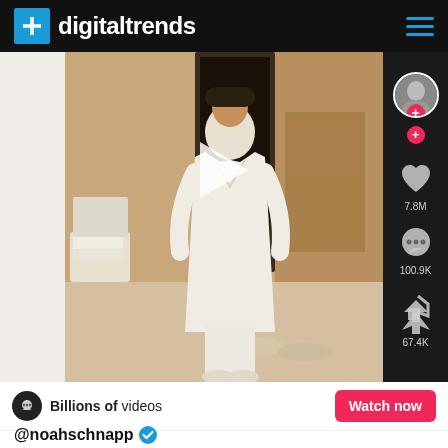digitaltrends
[Figure (screenshot): TikTok video screenshot showing a person in a white robe standing in a bathroom. Right sidebar shows profile icon with + button, heart icon with 7.8M likes, comment icon with 100.9K comments, share icon with 67.4K shares. Play button overlay visible.]
Billions of videos
Watch now
@noahschnapp